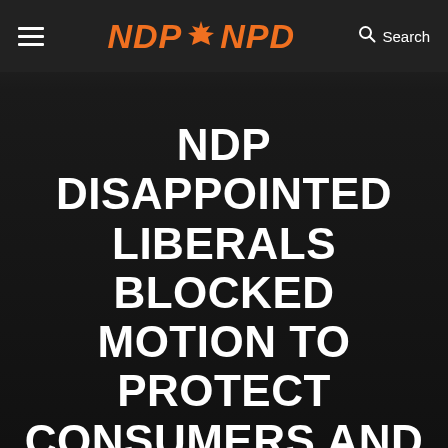NDP NPD
NDP DISAPPOINTED LIBERALS BLOCKED MOTION TO PROTECT CONSUMERS AND SMALL BUSINESSES FROM INTERNET GIANT AMAZON